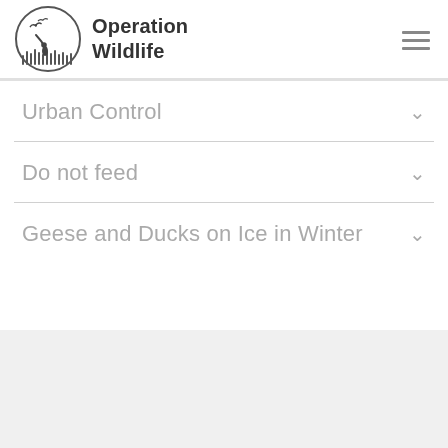[Figure (logo): Operation Wildlife logo: circular emblem with a silhouette of a person releasing a bird, surrounded by grass/reeds, with the organization name 'Operation Wildlife' to the right]
Urban Control
Do not feed
Geese and Ducks on Ice in Winter